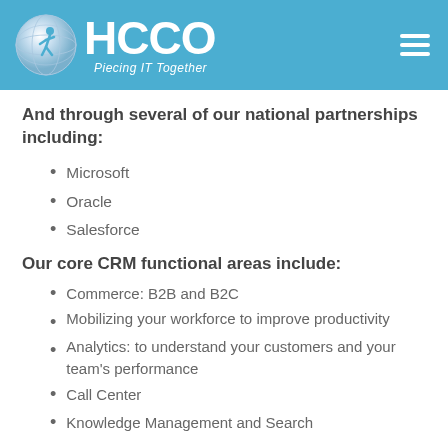HCCO — Piecing IT Together
And through several of our national partnerships including:
Microsoft
Oracle
Salesforce
Our core CRM functional areas include:
Commerce: B2B and B2C
Mobilizing your workforce to improve productivity
Analytics: to understand your customers and your team's performance
Call Center
Knowledge Management and Search